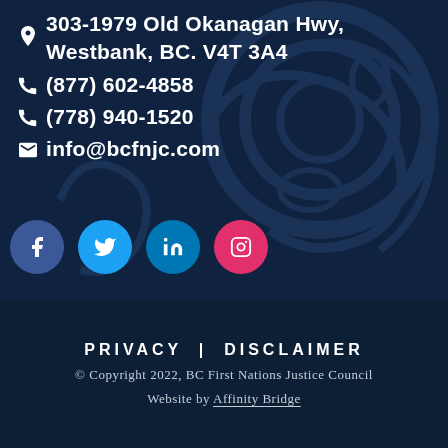303-1979 Old Okanagan Hwy, Westbank, BC. V4T 3A4
(877) 602-4858
(778) 940-1520
info@bcfnjc.com
[Figure (illustration): Social media icons row: Facebook (blue circle), Twitter (light blue circle), LinkedIn (blue circle), Instagram (pink/magenta circle)]
PRIVACY | DISCLAIMER
© Copyright 2022, BC First Nations Justice Council
Website by Affinity Bridge